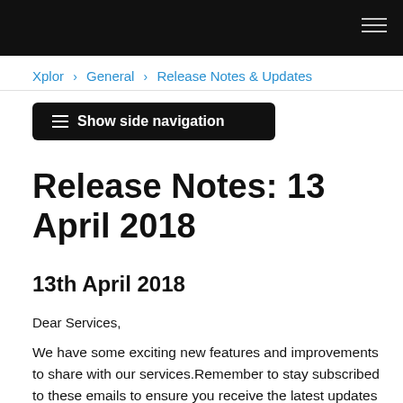Xplor › General › Release Notes & Updates
[Figure (other): Show side navigation button with hamburger icon]
Release Notes: 13 April 2018
13th April 2018
Dear Services,
We have some exciting new features and improvements to share with our services.Remember to stay subscribed to these emails to ensure you receive the latest updates on new